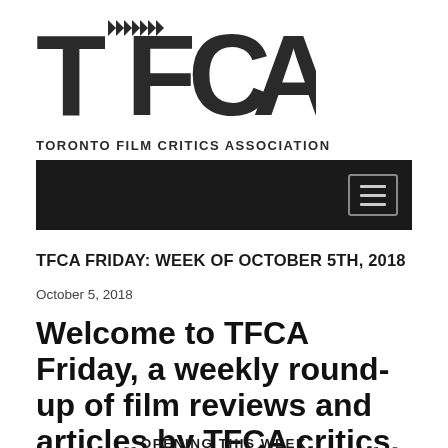[Figure (logo): TFCA logo with large bold letters T, F, C, A and film-reel clapperboard arrows incorporated into the letters]
TORONTO FILM CRITICS ASSOCIATION
[Figure (screenshot): Black navigation bar with hamburger menu icon on the right]
TFCA FRIDAY: WEEK OF OCTOBER 5TH, 2018
October 5, 2018
Welcome to TFCA Friday, a weekly round-up of film reviews and articles by TFCA critics.
OPENING THIS WEEK